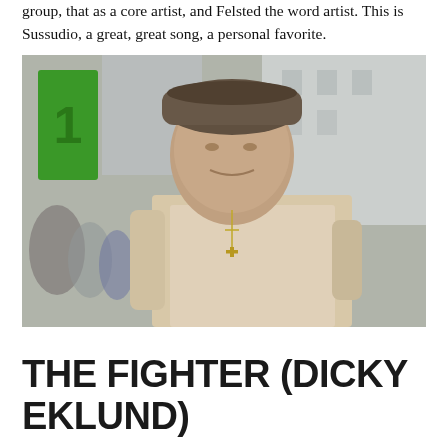group, that as a core artist, and Felsted the word artist. This is Sussudio, a great, great song, a personal favorite.
[Figure (photo): A thin man wearing a backward baseball cap and a beige/cream t-shirt with a cross necklace, standing outdoors on a street with green storefront signage visible in the background and people in the background to the left.]
THE FIGHTER (DICKY EKLUND)